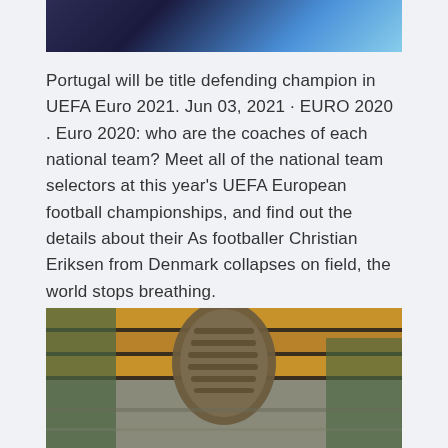[Figure (photo): Partial photo at top of page showing dark background with blue tones]
Portugal will be title defending champion in UEFA Euro 2021. Jun 03, 2021 · EURO 2020 . Euro 2020: who are the coaches of each national team? Meet all of the national team selectors at this year's UEFA European football championships, and find out the details about their As footballer Christian Eriksen from Denmark collapses on field, the world stops breathing.
[Figure (photo): Photo showing bottom of a shoe/sneaker sole on wooden bleacher steps, with a person wearing green pants visible]